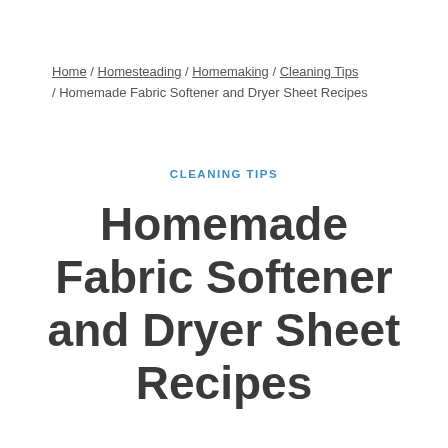Home / Homesteading / Homemaking / Cleaning Tips / Homemade Fabric Softener and Dryer Sheet Recipes
CLEANING TIPS
Homemade Fabric Softener and Dryer Sheet Recipes